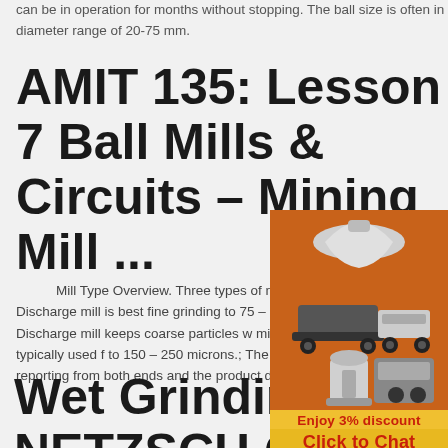can be in operation for months without stopping. The ball size is often in the diameter range of 20-75 mm.
AMIT 135: Lesson 7 Ball Mills & Circuits – Mining Mill ...
Mill Type Overview. Three types of mill de common. The Overflow Discharge mill is best fine grinding to 75 – 106 microns.; The Diaph Grate Discharge mill keeps coarse particles w mill for additional grinding and typically used f to 150 – 250 microns.; The Center-Periphery mill has feed reporting from both ends and the product discharges ...
[Figure (photo): Advertisement panel with industrial mining machinery images (crushers, mills), orange background, showing 'Enjoy 3% discount', 'Click to Chat', 'Enquiry', and email 'limingjlmofen@sina.com']
Wet Grinding - NETZSCH Grinding